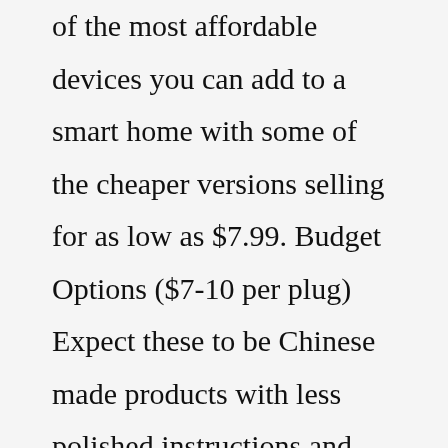of the most affordable devices you can add to a smart home with some of the cheaper versions selling for as low as $7.99. Budget Options ($7-10 per plug) Expect these to be Chinese made products with less polished instructions and packaging. Average Price ($18-$29)A SMART goal is used to help guide goal setting. SMART is an acronym that stands for Specific, Measurable, Achievable, Realistic, and Timely. A SMART goal must have criteria for